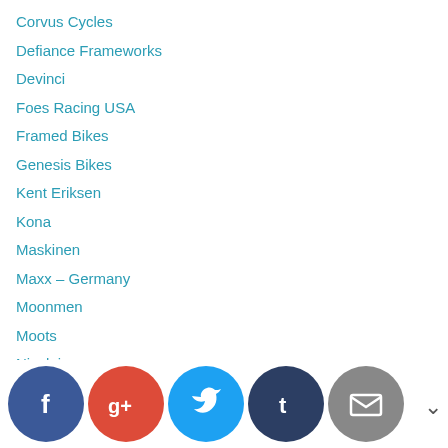Corvus Cycles
Defiance Frameworks
Devinci
Foes Racing USA
Framed Bikes
Genesis Bikes
Kent Eriksen
Kona
Maskinen
Maxx – Germany
Moonmen
Moots
Nicolai
Norco
Oddity Cycles
Otso Cycles
Quiring Cycles
REEB Cycles
Rocky Mountain
RSD Bikes
Salsa
[Figure (infographic): Social sharing icons: Facebook (blue-dark circle), Google+ (red circle), Twitter (blue circle), Tumblr (dark navy circle), Email (gray circle), and a chevron/arrow on the right.]